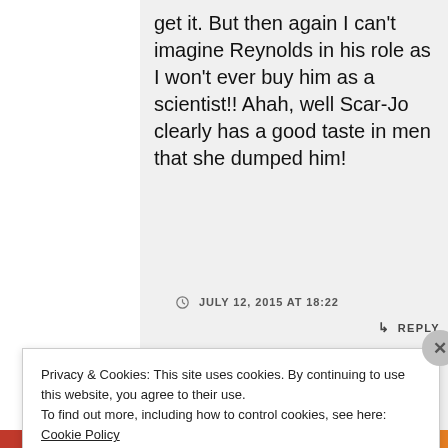get it. But then again I can't imagine Reynolds in his role as I won't ever buy him as a scientist!! Ahah, well Scar-Jo clearly has a good taste in men that she dumped him!
JULY 12, 2015 AT 18:22
REPLY
Privacy & Cookies: This site uses cookies. By continuing to use this website, you agree to their use.
To find out more, including how to control cookies, see here: Cookie Policy
Close and accept